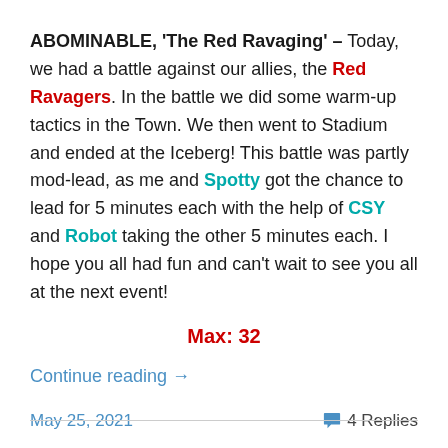ABOMINABLE, 'The Red Ravaging' – Today, we had a battle against our allies, the Red Ravagers. In the battle we did some warm-up tactics in the Town. We then went to Stadium and ended at the Iceberg! This battle was partly mod-lead, as me and Spotty got the chance to lead for 5 minutes each with the help of CSY and Robot taking the other 5 minutes each. I hope you all had fun and can't wait to see you all at the next event!
Max: 32
Continue reading →
May 25, 2021   4 Replies